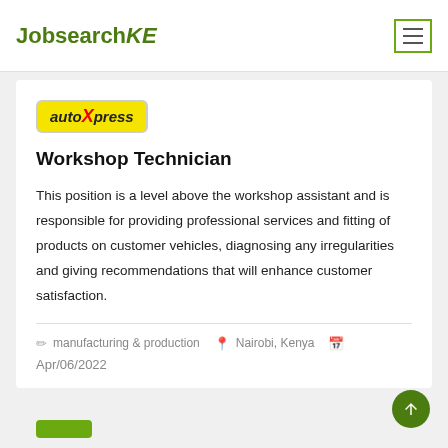JobsearchKE
[Figure (logo): autoXpress company logo with yellow background]
Workshop Technician
This position is a level above the workshop assistant and is responsible for providing professional services and fitting of products on customer vehicles, diagnosing any irregularities and giving recommendations that will enhance customer satisfaction.
manufacturing & production  Nairobi, Kenya
Apr/06/2022